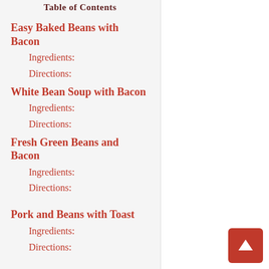Table of Contents
Easy Baked Beans with Bacon
Ingredients:
Directions:
White Bean Soup with Bacon
Ingredients:
Directions:
Fresh Green Beans and Bacon
Ingredients:
Directions:
Pork and Beans with Toast
Ingredients:
Directions: